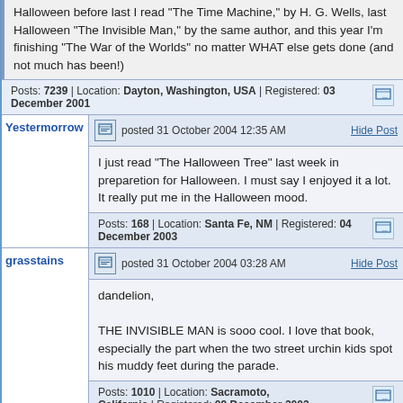Halloween before last I read "The Time Machine," by H. G. Wells, last Halloween "The Invisible Man," by the same author, and this year I'm finishing "The War of the Worlds" no matter WHAT else gets done (and not much has been!)
Posts: 7239 | Location: Dayton, Washington, USA | Registered: 03 December 2001
Yestermorrow
posted 31 October 2004 12:35 AM
Hide Post
I just read "The Halloween Tree" last week in preparetion for Halloween. I must say I enjoyed it a lot. It really put me in the Halloween mood.
Posts: 168 | Location: Santa Fe, NM | Registered: 04 December 2003
grasstains
posted 31 October 2004 03:28 AM
Hide Post
dandelion,

THE INVISIBLE MAN is sooo cool. I love that book, especially the part when the two street urchin kids spot his muddy feet during the parade.
Posts: 1010 | Location: Sacramoto, California | Registered: 09 December 2002